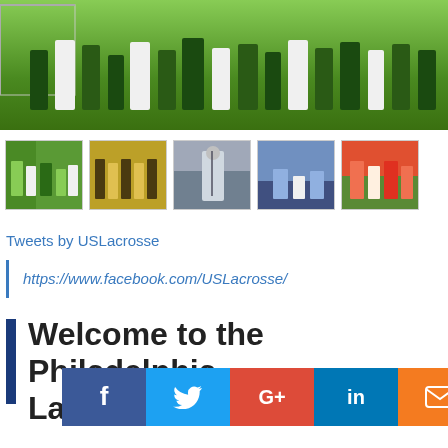[Figure (photo): Hero image of lacrosse players with a goal net on a green grass field]
[Figure (photo): Row of 5 thumbnail photos showing lacrosse teams and players in action]
Tweets by USLacrosse
https://www.facebook.com/USLacrosse/
Welcome to the Philadelphia Lacro...
[Figure (infographic): Social sharing bar with Facebook, Twitter, Google+, LinkedIn, and Email buttons]